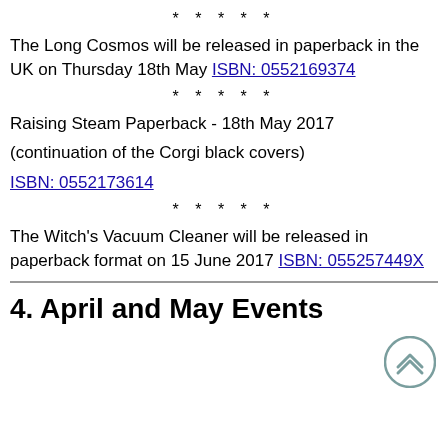* * * * *
The Long Cosmos will be released in paperback in the UK on Thursday 18th May ISBN: 0552169374
* * * * *
Raising Steam Paperback - 18th May 2017
(continuation of the Corgi black covers)
ISBN: 0552173614
* * * * *
The Witch's Vacuum Cleaner will be released in paperback format on 15 June 2017 ISBN: 055257449X
4. April and May Events